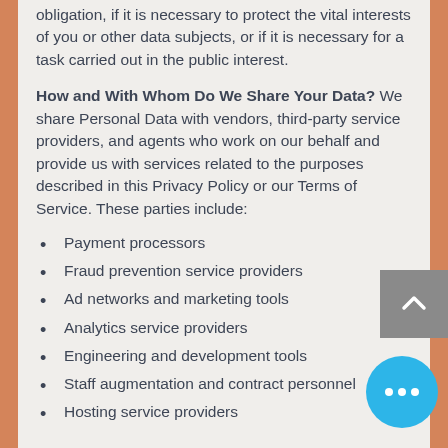obligation, if it is necessary to protect the vital interests of you or other data subjects, or if it is necessary for a task carried out in the public interest.
How and With Whom Do We Share Your Data? We share Personal Data with vendors, third-party service providers, and agents who work on our behalf and provide us with services related to the purposes described in this Privacy Policy or our Terms of Service. These parties include:
Payment processors
Fraud prevention service providers
Ad networks and marketing tools
Analytics service providers
Engineering and development tools
Staff augmentation and contract personnel
Hosting service providers